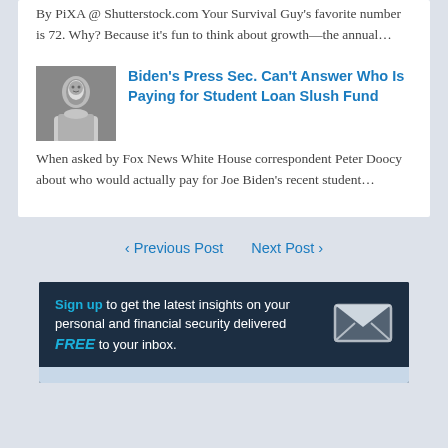By PiXA @ Shutterstock.com Your Survival Guy's favorite number is 72. Why? Because it's fun to think about growth—the annual…
[Figure (photo): Black and white photo of a person, likely a press secretary or public figure, shown from shoulders up]
Biden's Press Sec. Can't Answer Who Is Paying for Student Loan Slush Fund
When asked by Fox News White House correspondent Peter Doocy about who would actually pay for Joe Biden's recent student…
‹ Previous Post    Next Post ›
[Figure (infographic): Dark blue banner ad: 'Sign up to get the latest insights on your personal and financial security delivered FREE to your inbox.' with envelope icon]